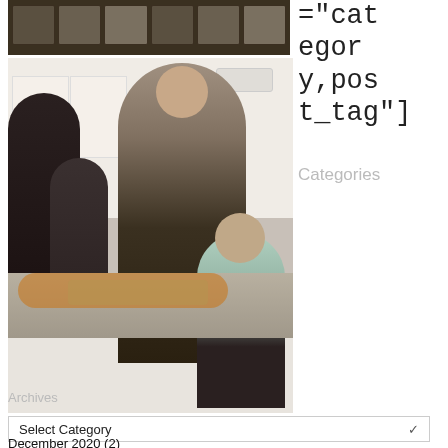[Figure (photo): Top strip photo showing dark trays/containers on shelves]
[Figure (photo): Photo of adults and children cooking in a kitchen, wearing dark aprons, working at a counter with food]
="category,post_tag"]
Categories
Select Category
Archives
December 2020 (2)